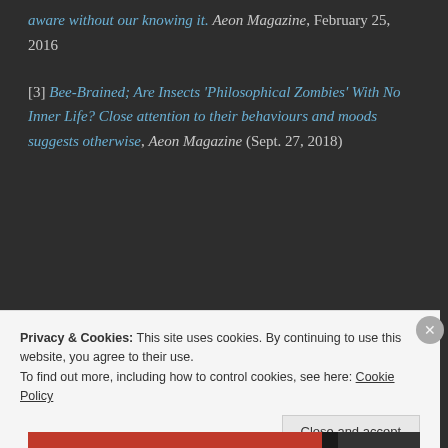aware without our knowing it. Aeon Magazine, February 25, 2016
[3] Bee-Brained; Are Insects 'Philosophical Zombies' With No Inner Life? Close attention to their behaviours and moods suggests otherwise, Aeon Magazine (Sept. 27, 2018)
[Figure (screenshot): Advertisement box with blue background reading 'When your WordPress site needs speed, you need']
Privacy & Cookies: This site uses cookies. By continuing to use this website, you agree to their use.
To find out more, including how to control cookies, see here: Cookie Policy
Close and accept